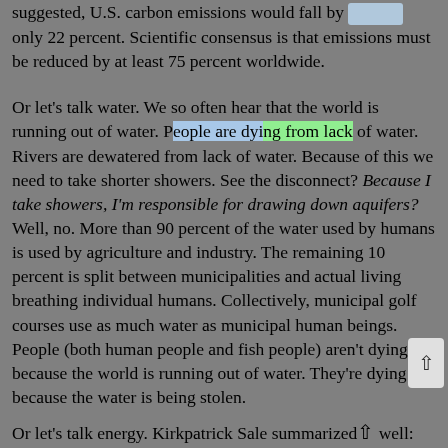suggested, U.S. carbon emissions would fall by only 22 percent. Scientific consensus is that emissions must be reduced by at least 75 percent worldwide.
Or let's talk water. We so often hear that the world is running out of water. People are dying from lack of water. Rivers are dewatered from lack of water. Because of this we need to take shorter showers. See the disconnect? Because I take showers, I'm responsible for drawing down aquifers? Well, no. More than 90 percent of the water used by humans is used by agriculture and industry. The remaining 10 percent is split between municipalities and actual living breathing individual humans. Collectively, municipal golf courses use as much water as municipal human beings. People (both human people and fish people) aren't dying because the world is running out of water. They're dying because the water is being stolen.
Or let's talk energy. Kirkpatrick Sale summarized well: "For the past 15 years the story has been the same every year: individual consumption—